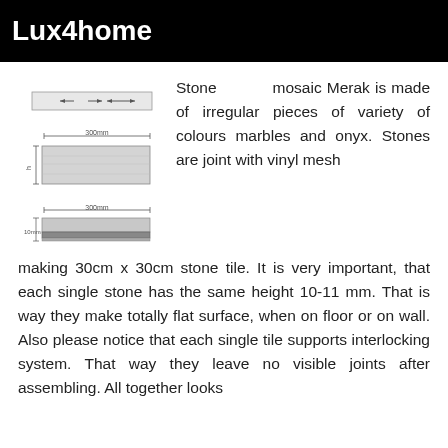Lux4home
[Figure (schematic): Technical diagrams of stone mosaic tile: top view showing tile with arrows indicating dimensions, side view showing 300mm width and height dimension, and profile/cross-section view showing thickness layers.]
Stone mosaic Merak is made of irregular pieces of variety of colours marbles and onyx. Stones are joint with vinyl mesh making 30cm x 30cm stone tile. It is very important, that each single stone has the same height 10-11 mm. That is way they make totally flat surface, when on floor or on wall. Also please notice that each single tile supports interlocking system. That way they leave no visible joints after assembling. All together looks